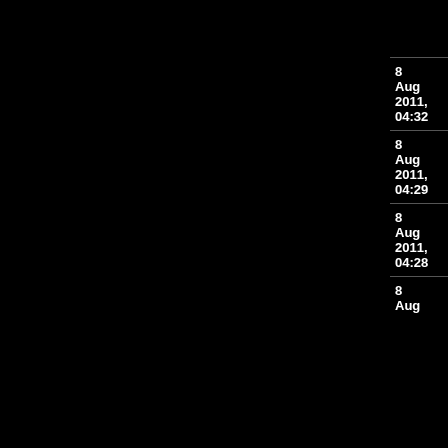| Date | Action |
| --- | --- |
|  | Your holidays in Tenerife, Canary Islands |
| 8 Aug 2011, 04:32 | Canary Paradise edited
Your holidays in Tenerife, Canary Islands |
| 8 Aug 2011, 04:29 | Canary Paradise edited
Your holidays in Tenerife, Canary Islands |
| 8 Aug 2011, 04:28 | Canary Paradise edited
Your holidays in Tenerife, Canary Islands |
| 8 Aug | Canary Paradise |